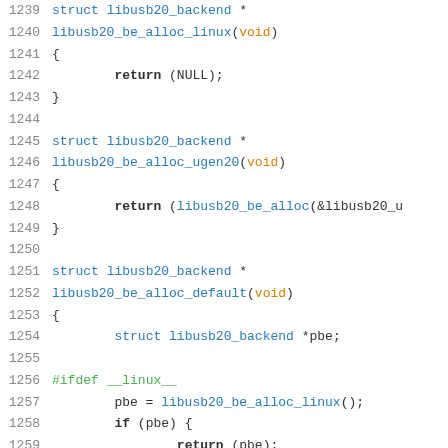Source code listing lines 1239-1268 showing C functions libusb20_be_alloc_linux, libusb20_be_alloc_ugen20, and libusb20_be_alloc_default with preprocessor directives